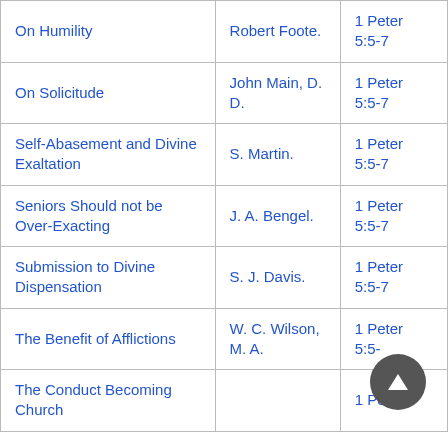| Topic | Author | Scripture |
| --- | --- | --- |
| On Humility | Robert Foote. | 1 Peter 5:5-7 |
| On Solicitude | John Main, D. D. | 1 Peter 5:5-7 |
| Self-Abasement and Divine Exaltation | S. Martin. | 1 Peter 5:5-7 |
| Seniors Should not be Over-Exacting | J. A. Bengel. | 1 Peter 5:5-7 |
| Submission to Divine Dispensation | S. J. Davis. | 1 Peter 5:5-7 |
| The Benefit of Afflictions | W. C. Wilson, M. A. | 1 Peter 5:5-... |
| The Conduct Becoming Church |  | 1 Peter |